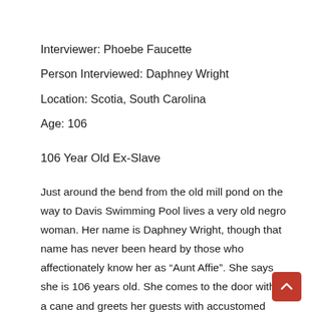Interviewer: Phoebe Faucette
Person Interviewed: Daphney Wright
Location: Scotia, South Carolina
Age: 106
106 Year Old Ex-Slave
Just around the bend from the old mill pond on the way to Davis Swimming Pool lives a very old negro woman. Her name is Daphney Wright, though that name has never been heard by those who affectionately know her as “Aunt Affie”. She says she is 106 years old. She comes to the door without a cane and greets her guests with accustomed curtsey. She is neatly